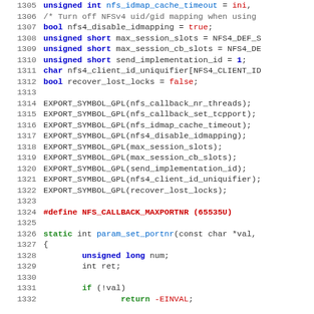[Figure (screenshot): Source code listing (C language) showing lines 1305-1332 of a Linux kernel NFS module, with syntax highlighting. Lines include variable declarations, EXPORT_SYMBOL_GPL macros, a #define for NFS_CALLBACK_MAXPORTNR, and a static function param_set_portnr.]